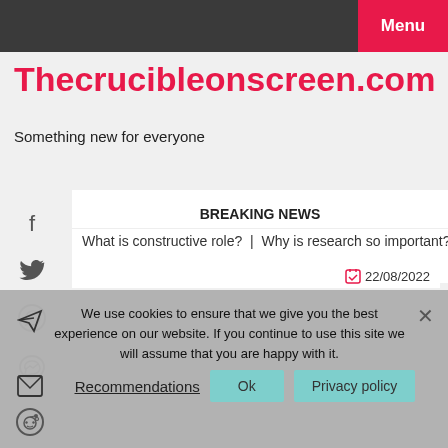Menu
Thecrucibleonscreen.com
Something new for everyone
BREAKING NEWS
What is constructive role? | Why is research so important? |
22/08/2022
We use cookies to ensure that we give you the best experience on our website. If you continue to use this site we will assume that you are happy with it.
Recommendations
Ok
Privacy policy